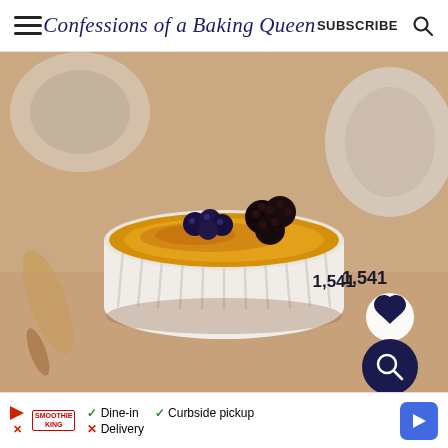Confessions of a Baking Queen | SUBSCRIBE
[Figure (photo): Close-up photo of a white ribbed ramekin containing crème brûlée topped with fresh blueberries and blackberries, with a wooden spoon and ceramic vessels in the background on a beige surface. Overlay shows 1,541 saves count, a heart (save) button, and a search button.]
1,541
[Figure (other): Advertisement bar: Smoothie King logo with play icon and X icon, dine-in checkmark, curbside pickup checkmark, delivery X, and a blue navigation arrow button.]